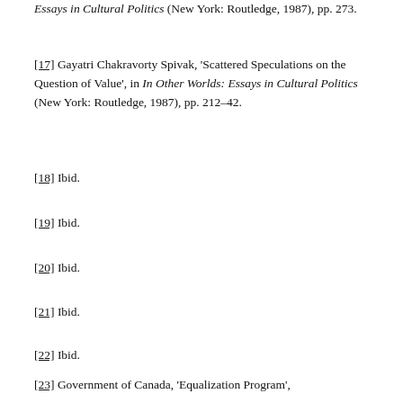Essays in Cultural Politics (New York: Routledge, 1987), pp. 273.
[17] Gayatri Chakravorty Spivak, 'Scattered Speculations on the Question of Value', in In Other Worlds: Essays in Cultural Politics (New York: Routledge, 1987), pp. 212–42.
[18] Ibid.
[19] Ibid.
[20] Ibid.
[21] Ibid.
[22] Ibid.
[23] Government of Canada, 'Equalization Program', 2011 <http://www.fin.gc.ca/fedprov/eqprog-con&gt;